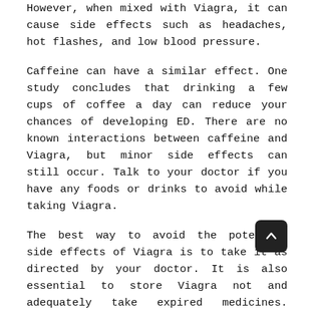However, when mixed with Viagra, it can cause side effects such as headaches, hot flashes, and low blood pressure.
Caffeine can have a similar effect. One study concludes that drinking a few cups of coffee a day can reduce your chances of developing ED. There are no known interactions between caffeine and Viagra, but minor side effects can still occur. Talk to your doctor if you have any foods or drinks to avoid while taking Viagra.
The best way to avoid the potential side effects of Viagra is to take it as directed by your doctor. It is also essential to store Viagra not and adequately take expired medicines. Store Viagra at room temperature away from moisture, heat, and sunlight to maximize storage life. Order viagra tablet online.
Suppose you notice that Viagra has expired. In this